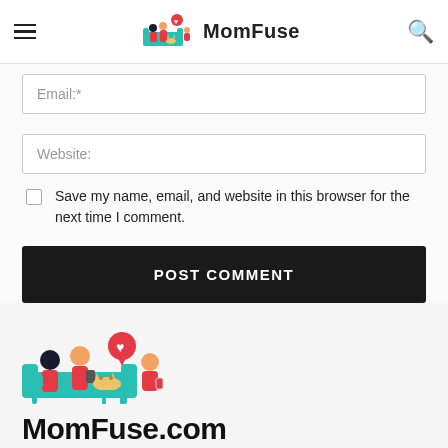MomFuse
Email:*
Website:
Save my name, email, and website in this browser for the next time I comment.
POST COMMENT
[Figure (illustration): MomFuse logo illustration: two adults on a teal couch with a cat, and a child, with a red heart speech bubble]
MomFuse.com